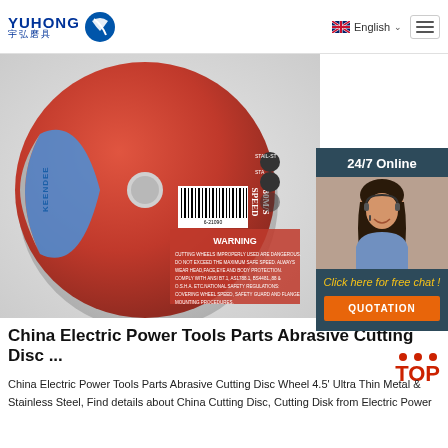YUHONG 宇弘磨具 | English
[Figure (photo): A red and blue abrasive cutting disc labeled KEENDEE, SPEED 80M/S, with WARNING text and a barcode visible. The disc is shown at an angle on a white/grey background.]
[Figure (photo): Chat widget showing a customer service representative woman with a headset, dark background with '24/7 Online' header, 'Click here for free chat!' text in yellow, and an orange QUOTATION button.]
China Electric Power Tools Parts Abrasive Cutting Disc ...
China Electric Power Tools Parts Abrasive Cutting Disc Wheel 4.5' Ultra Thin Metal & Stainless Steel, Find details about China Cutting Disc, Cutting Disk from Electric Power